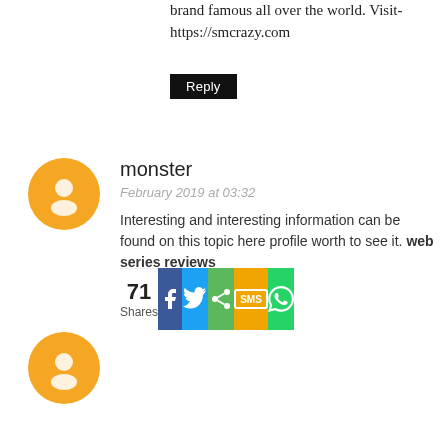brand famous all over the world. Visit- https://smcrazy.com
Reply
monster
February 2019 at 03:32
Interesting and interesting information can be found on this topic here profile worth to see it. web series reviews
Reply
known
February 2019 at 01:06
Incredible articles and awesome design. Your blog entry merits the greater part of the positive input it"s been getting. marketing blog
Reply
yn Mills
February 2019 at 03:33
71 Shares